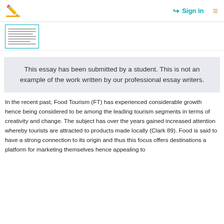Sign in
[Figure (screenshot): Thumbnail preview of a document page with horizontal lines of text]
This essay has been submitted by a student. This is not an example of the work written by our professional essay writers.
In the recent past, Food Tourism (FT) has experienced considerable growth hence being considered to be among the leading tourism segments in terms of creativity and change. The subject has over the years gained increased attention whereby tourists are attracted to products made locally (Clark 89). Food is said to have a strong connection to its origin and thus this focus offers destinations a platform for marketing themselves hence appealing to